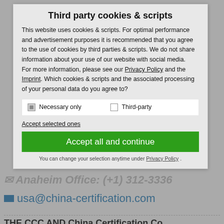Third party cookies & scripts
This website uses cookies & scripts. For optimal performance and advertisement purposes it is recommended that you agree to the use of cookies by third parties & scripts. We do not share information about your use of our website with social media. For more information, please see our Privacy Policy and the Imprint. Which cookies & scripts and the associated processing of your personal data do you agree to?
Necessary only   Third-party
Accept selected ones
Accept all and continue
You can change your selection anytime under Privacy Policy .
usa@china-certification.com